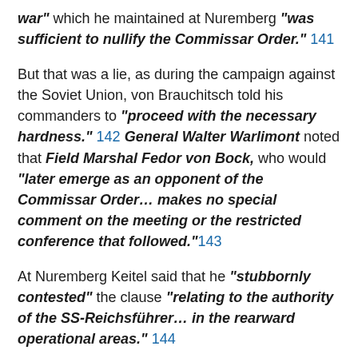war" which he maintained at Nuremberg "was sufficient to nullify the Commissar Order." 141
But that was a lie, as during the campaign against the Soviet Union, von Brauchitsch told his commanders to "proceed with the necessary hardness." 142 General Walter Warlimont noted that Field Marshal Fedor von Bock, who would "later emerge as an opponent of the Commissar Order… makes no special comment on the meeting or the restricted conference that followed." 143
At Nuremberg Keitel said that he "stubbornly contested" the clause "relating to the authority of the SS-Reichsführer… in the rearward operational areas." 144
At Nuremberg Keitel attempted to shift blame for order the